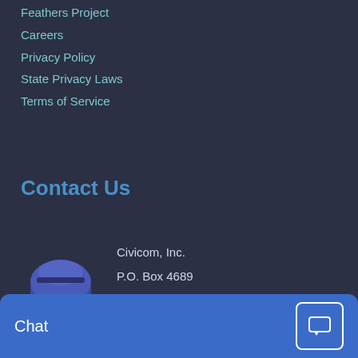Feathers Project
Careers
Privacy Policy
State Privacy Laws
Terms of Service
Contact Us
[Figure (illustration): Blue mailbox/postal box icon with 'Civicom' label on the front door]
Civicom, Inc.
P.O. Box 4689
Greenwich, CT 06831
203-618-1811
Email Us
We use cookies to give you the best experience on our website. By continuing to browse the site, you are agreeing to our use of cookies. You can change your cookie settings at any time but if you do, you may lose some functionality. More information can be found in our
Cookie policy
Chat